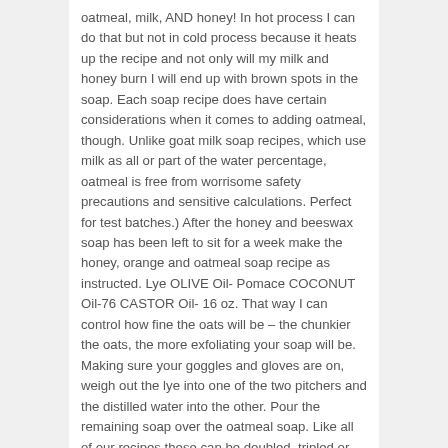oatmeal, milk, AND honey! In hot process I can do that but not in cold process because it heats up the recipe and not only will my milk and honey burn I will end up with brown spots in the soap. Each soap recipe does have certain considerations when it comes to adding oatmeal, though. Unlike goat milk soap recipes, which use milk as all or part of the water percentage, oatmeal is free from worrisome safety precautions and sensitive calculations. Perfect for test batches.) After the honey and beeswax soap has been left to sit for a week make the honey, orange and oatmeal soap recipe as instructed. Lye OLIVE Oil- Pomace COCONUT Oil-76 CASTOR Oil- 16 oz. That way I can control how fine the oats will be – the chunkier the oats, the more exfoliating your soap will be. Making sure your goggles and gloves are on, weigh out the lye into one of the two pitchers and the distilled water into the other. Pour the remaining soap over the oatmeal soap. Like all of our recipes these can be doubled, tripled or quadrupled and can be made using the cold process method in bigger containers than a blender. Using a spoon or spatula, finish off the top of the soap by making peaks or whatever you wish. Gradually add the lye and the salt to the water pitcher